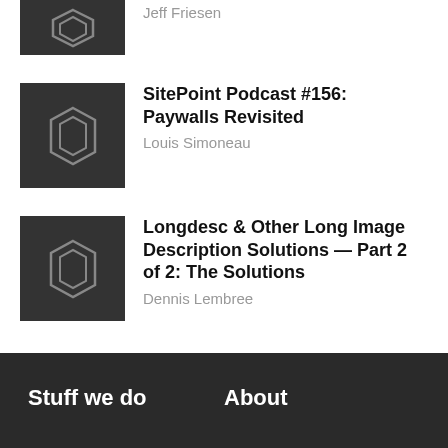Jeff Friesen
SitePoint Podcast #156: Paywalls Revisited
Louis Simoneau
Longdesc & Other Long Image Description Solutions — Part 2 of 2: The Solutions
Dennis Lembree
Stuff we do   About